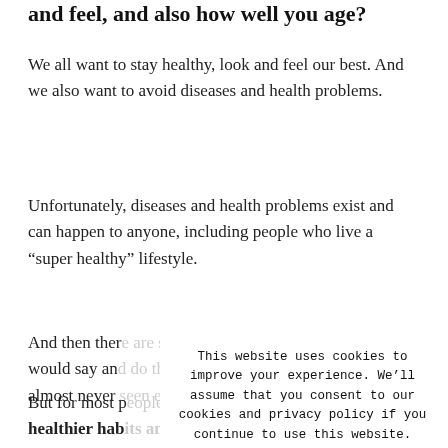and feel, and also how well you age?
We all want to stay healthy, look and feel our best. And we also want to avoid diseases and health problems.
Unfortunately, diseases and health problems exist and can happen to anyone, including people who live a “super healthy” lifestyle.
And then ther[e are those who...] would say an[d do...] almost never [...]
But for most p[eople, being] proactive an[d building] healthier hab[its...]
This website uses cookies to improve your experience. We’ll assume that you consent to our cookies and privacy policy if you continue to use this website. Accept | Read More